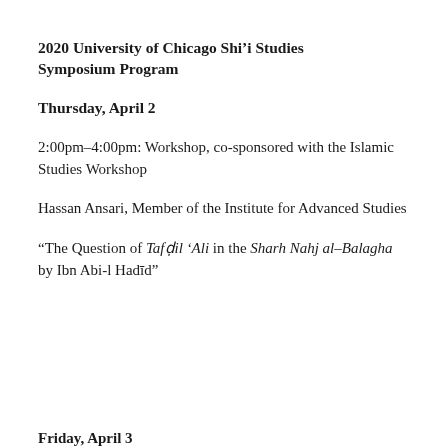2020 University of Chicago Shi’i Studies Symposium Program
Thursday, April 2
2:00pm–4:00pm: Workshop, co-sponsored with the Islamic Studies Workshop
Hassan Ansari, Member of the Institute for Advanced Studies
“The Question of Tafḍil ‘Ali in the Sharh Nahj al-Balagha by Ibn Abi-l Hadīd”
Friday, April 3